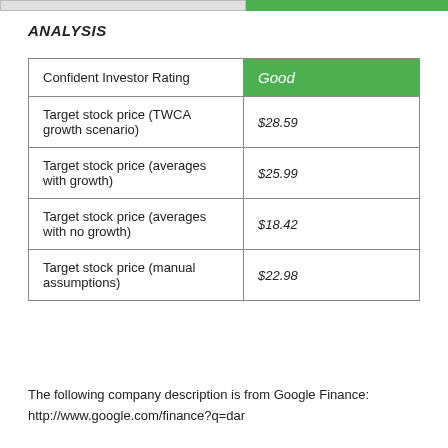ANALYSIS
|  |  |
| --- | --- |
| Confident Investor Rating | Good |
| Target stock price (TWCA growth scenario) | $28.59 |
| Target stock price (averages with growth) | $25.99 |
| Target stock price (averages with no growth) | $18.42 |
| Target stock price (manual assumptions) | $22.98 |
The following company description is from Google Finance:
http://www.google.com/finance?q=dar